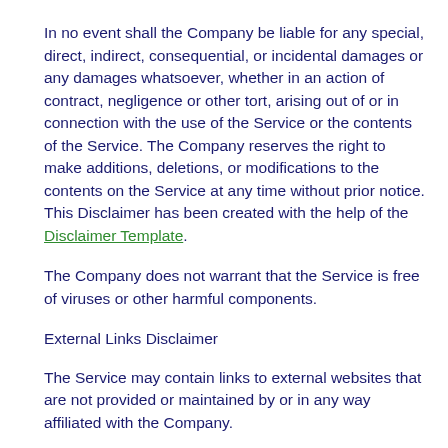in the contents of the Service.
In no event shall the Company be liable for any special, direct, indirect, consequential, or incidental damages or any damages whatsoever, whether in an action of contract, negligence or other tort, arising out of or in connection with the use of the Service or the contents of the Service. The Company reserves the right to make additions, deletions, or modifications to the contents on the Service at any time without prior notice. This Disclaimer has been created with the help of the Disclaimer Template.
The Company does not warrant that the Service is free of viruses or other harmful components.
External Links Disclaimer
The Service may contain links to external websites that are not provided or maintained by or in any way affiliated with the Company.
Please note that the Company does not guarantee the accuracy, relevance, timeliness, or completeness of any information on